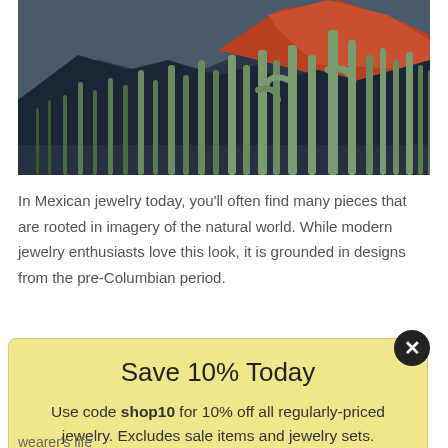[Figure (photo): Desert landscape with tall saguaro cacti in the foreground and reddish-orange mountains lit by sunlight in the background under a blue-grey sky.]
In Mexican jewelry today, you'll often find many pieces that are rooted in imagery of the natural world. While modern jewelry enthusiasts love this look, it is grounded in designs from the pre-Columbian period.
Save 10% Today
Use code shop10 for 10% off all regularly-priced jewelry. Excludes sale items and jewelry sets.
wearer's life